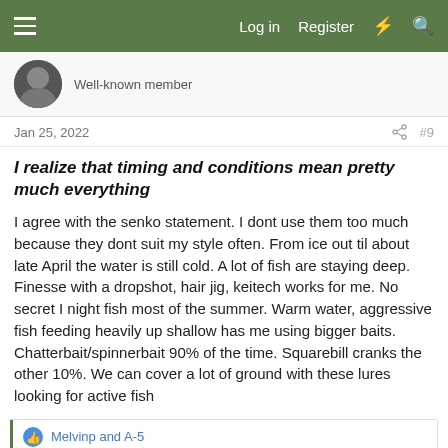Log in  Register  #9
Well-known member
Jan 25, 2022  #9
I realize that timing and conditions mean pretty much everything
I agree with the senko statement. I dont use them too much because they dont suit my style often. From ice out til about late April the water is still cold. A lot of fish are staying deep. Finesse with a dropshot, hair jig, keitech works for me. No secret I night fish most of the summer. Warm water, aggressive fish feeding heavily up shallow has me using bigger baits. Chatterbait/spinnerbait 90% of the time. Squarebill cranks the other 10%. We can cover a lot of ground with these lures looking for active fish
Melvinp and A-5